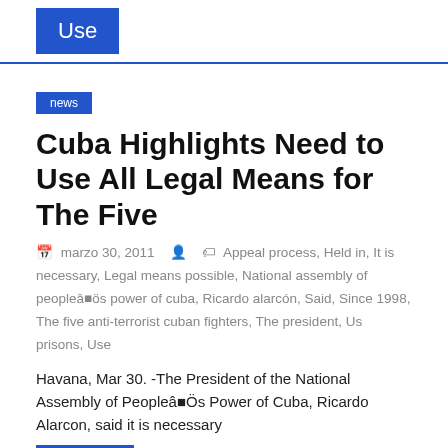Use
news
Cuba Highlights Need to Use All Legal Means for The Five
marzo 30, 2011   Appeal process, Held in, It is necessary, Legal means possible, National assembly of peopleâ■ös power of cuba, Ricardo alarcón, Said, Since 1998, The five anti-terrorist cuban fighters, The president, Us prisons, Use
Havana, Mar 30. -The President of the National Assembly of Peopleâ■Ös Power of Cuba, Ricardo Alarcon, said it is necessary
Leer más